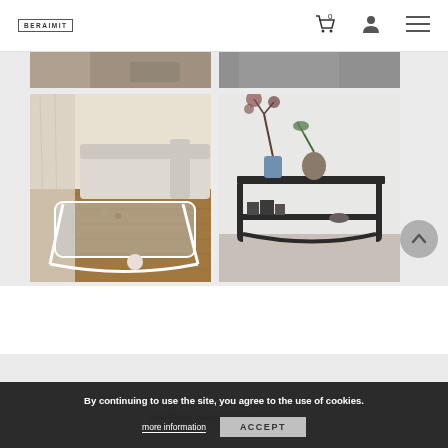BERAIMIT | 0 (cart) | user icon | menu
[Figure (photo): Partial top view of two furniture lifestyle photos cropped at top]
[Figure (photo): Glass coffee table with white frame in a living room with white sofa on dark wood floor]
[Figure (photo): Dark metal console table with plants and books in a minimalist white room]
By continuing to use the site, you agree to the use of cookies.
more information
ACCEPT
Stockholm, Sweden | Furniture maker